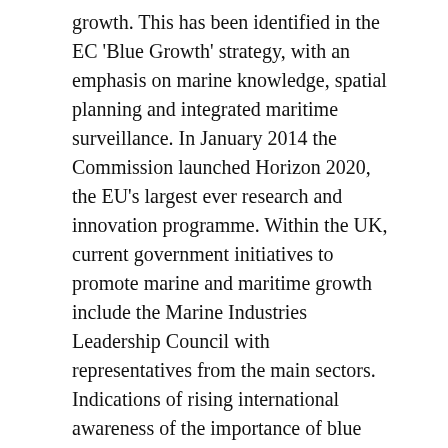growth. This has been identified in the EC 'Blue Growth' strategy, with an emphasis on marine knowledge, spatial planning and integrated maritime surveillance. In January 2014 the Commission launched Horizon 2020, the EU's largest ever research and innovation programme. Within the UK, current government initiatives to promote marine and maritime growth include the Marine Industries Leadership Council with representatives from the main sectors. Indications of rising international awareness of the importance of blue growth, include the action agenda for the Global Oceans Commission (2013-), the activities of the Global Forum on Oceans, Coasts and Islands (2002-), and the five-day Global Oceans Action Summit for Food Security and Blue Growth (The Hague, April 2014).